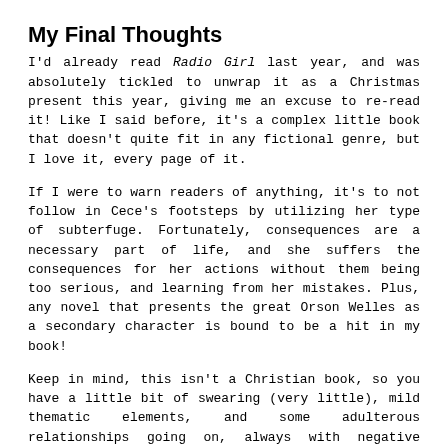My Final Thoughts
I'd already read Radio Girl last year, and was absolutely tickled to unwrap it as a Christmas present this year, giving me an excuse to re-read it! Like I said before, it's a complex little book that doesn't quite fit in any fictional genre, but I love it, every page of it.
If I were to warn readers of anything, it's to not follow in Cece's footsteps by utilizing her type of subterfuge. Fortunately, consequences are a necessary part of life, and she suffers the consequences for her actions without them being too serious, and learning from her mistakes. Plus, any novel that presents the great Orson Welles as a secondary character is bound to be a hit in my book!
Keep in mind, this isn't a Christian book, so you have a little bit of swearing (very little), mild thematic elements, and some adulterous relationships going on, always with negative consequences, to say nothing of Cece's lying. But please, don't let any of these things stop you from giving Radio Girl a try! After all, people aren't perfect, and Carol Brandler does a stupendous job of